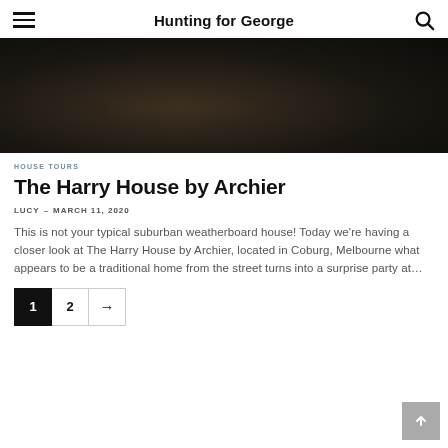Hunting for George
[Figure (photo): Dark, moody interior photograph with very low lighting, predominantly dark brown and black tones]
HOUSE TOURS
The Harry House by Archier
LUCY – MARCH 11, 2020
This is not your typical suburban weatherboard house! Today we're having a closer look at The Harry House by Archier, located in Coburg, Melbourne what appears to be a traditional home from the street turns into a surprise party at…